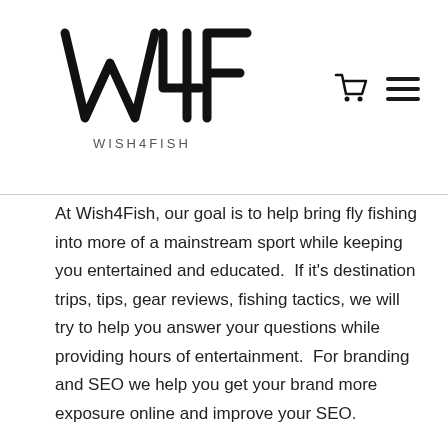[Figure (logo): Wish4Fish logo — stylized W4F lettering with 'WISH4FISH' text below]
At Wish4Fish, our goal is to help bring fly fishing into more of a mainstream sport while keeping you entertained and educated.  If it's destination trips, tips, gear reviews, fishing tactics, we will try to help you answer your questions while providing hours of entertainment.  For branding and SEO we help you get your brand more exposure online and improve your SEO.
Through social media we are able to reach a very large fly fishing demographic.  With YouTube as our main platform, we are able to hit the exact target